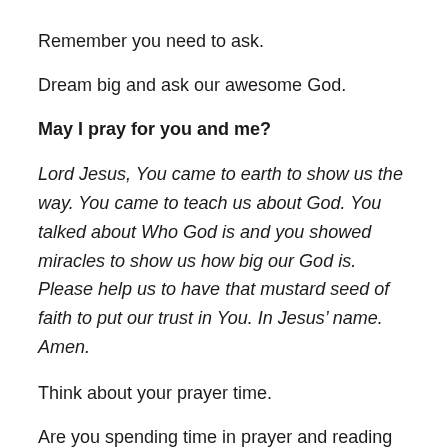Remember you need to ask.
Dream big and ask our awesome God.
May I pray for you and me?
Lord Jesus, You came to earth to show us the way. You came to teach us about God. You talked about Who God is and you showed miracles to show us how big our God is. Please help us to have that mustard seed of faith to put our trust in You. In Jesus’ name. Amen.
Think about your prayer time.
Are you spending time in prayer and reading God’s Word?
[i] Mark Batterson, Draw the Circle: The 40 Day Prayer